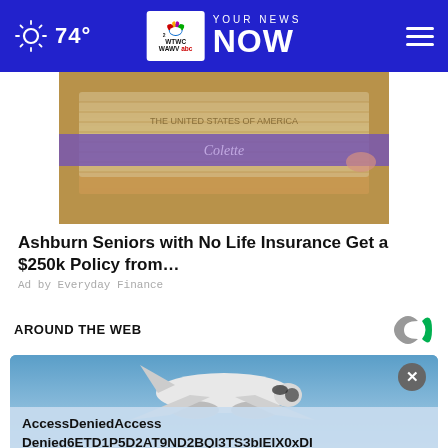74° YOUR NEWS NOW — WTWC WAWV NBC2
[Figure (photo): Stack of US dollar bills bundled with a purple Colette band]
Ashburn Seniors with No Life Insurance Get a $250k Policy from…
Ad by Everyday Finance
AROUND THE WEB
[Figure (screenshot): AccessDeniedAccessDenied6ETD1P5D2AT9ND2BQI3TS3bIElX0xDI error overlay on a blue sky with airplane image, with close button X]
AccessDeniedAccessDenied6ETD1P5D2AT9ND2BQI3TS3bIElX0xDI